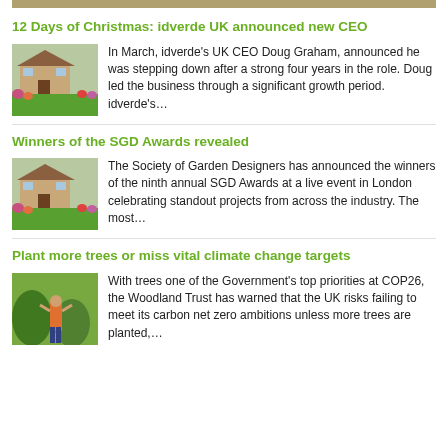12 Days of Christmas: idverde UK announced new CEO
[Figure (photo): Garden with green lawn and flowering plants in front of a house]
In March, idverde's UK CEO Doug Graham, announced he was stepping down after a strong four years in the role. Doug led the business through a significant growth period. idverde's…
Winners of the SGD Awards revealed
[Figure (photo): Garden with green lawn and flowering plants in front of a house]
The Society of Garden Designers has announced the winners of the ninth annual SGD Awards at a live event in London celebrating standout projects from across the industry. The most…
Plant more trees or miss vital climate change targets
[Figure (photo): Person in orange shirt tending to shrubs/topiary in a garden]
With trees one of the Government's top priorities at COP26, the Woodland Trust has warned that the UK risks failing to meet its carbon net zero ambitions unless more trees are planted,…